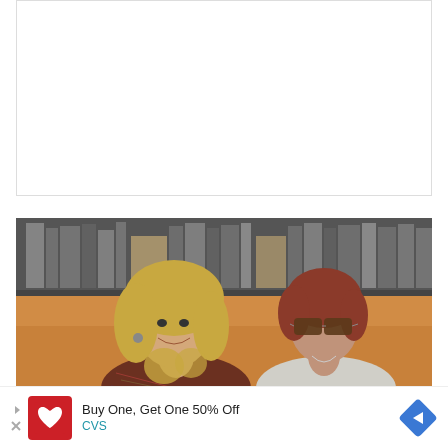READ MORE
[Figure (photo): Two women sitting together on a couch in front of a bookshelf background. The woman on the left has long blonde wavy hair and is smiling; the woman on the right has short reddish-brown hair and is wearing sunglasses.]
[Figure (screenshot): CVS Pharmacy advertisement banner: 'Buy One, Get One 50% Off' with CVS logo on the left and a blue diamond arrow icon on the right.]